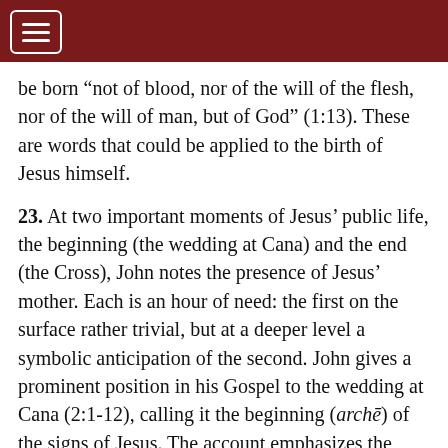be born “not of blood, nor of the will of the flesh, nor of the will of man, but of God” (1:13). These are words that could be applied to the birth of Jesus himself.
23. At two important moments of Jesus’ public life, the beginning (the wedding at Cana) and the end (the Cross), John notes the presence of Jesus’ mother. Each is an hour of need: the first on the surface rather trivial, but at a deeper level a symbolic anticipation of the second. John gives a prominent position in his Gospel to the wedding at Cana (2:1-12), calling it the beginning (archē) of the signs of Jesus. The account emphasizes the new wine which Jesus brings, symbolizing the eschatological marriage feast of God with his people and the messianic banquet of the Kingdom. The story primarily conveys a Christological message: Jesus reveals his